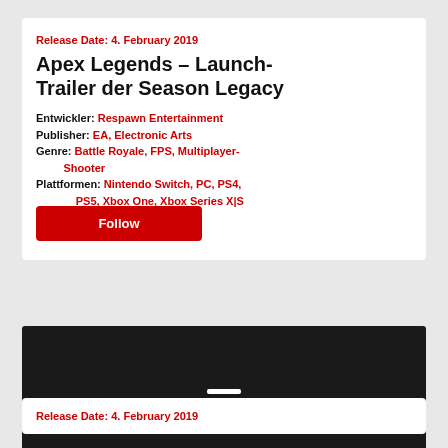Release Date: 4. February 2019
Apex Legends – Launch-Trailer der Season Legacy
Entwickler: Respawn Entertainment
Publisher: EA, Electronic Arts
Genre: Battle Royale, FPS, Multiplayer-Shooter
Plattformen: Nintendo Switch, PC, PS4, PS5, Xbox One, Xbox Series X|S
Altersfreigabe: USK 16
Release Date: 4. February 2019
[Figure (screenshot): Dark video player area with a white horizontal bar in the center]
Release Date: 4. February 2019